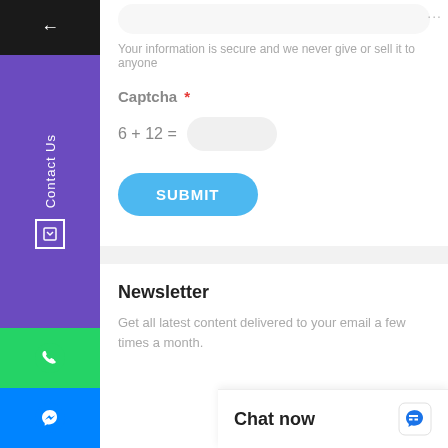Your information is secure and we never give or sell it to anyone
Captcha *
6 + 12 =
SUBMIT
Newsletter
Get all latest content delivered to your email a few times a month.
Your Email
Chat now
Contact Us